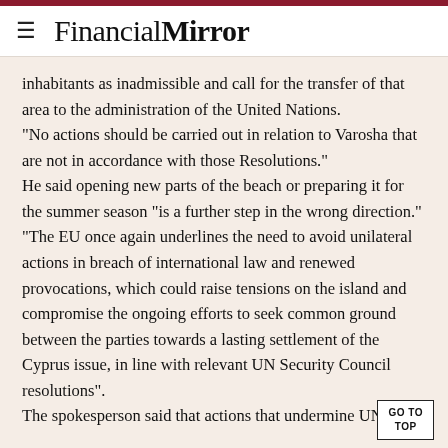Financial Mirror
inhabitants as inadmissible and call for the transfer of that area to the administration of the United Nations.
“No actions should be carried out in relation to Varosha that are not in accordance with those Resolutions.”
He said opening new parts of the beach or preparing it for the summer season “is a further step in the wrong direction.”
“The EU once again underlines the need to avoid unilateral actions in breach of international law and renewed provocations, which could raise tensions on the island and compromise the ongoing efforts to seek common ground between the parties towards a lasting settlement of the Cyprus issue, in line with relevant UN Security Council resolutions”.
The spokesperson said that actions that undermine UN…